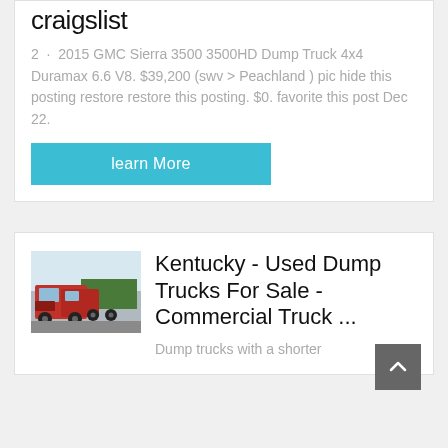craigslist
2  ·  2015 GMC Sierra 3500 3500HD Dump Truck 4x4 Duramax 6.6 V8. $39,200 (swv > Peachland ) pic hide this posting restore restore this posting. $0. favorite this post Dec 22.
learn More
[Figure (photo): Red commercial dump/semi trucks parked outdoors]
Kentucky - Used Dump Trucks For Sale - Commercial Truck ...
Dump trucks with a shorter